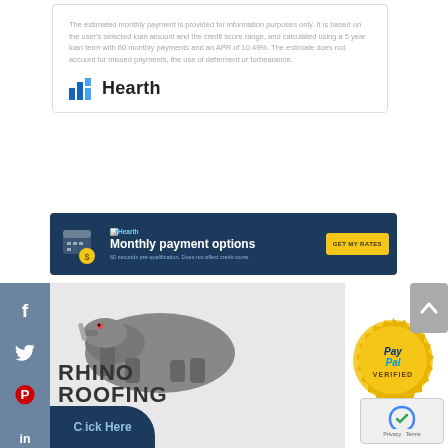The estimated monthly payment is provided for information purposes only. It is based on the user's selected loan amount and the credit score range, and calculated using a 5 year loan term with 60 monthly payments and an APR of 10.49%. The estimate does not account for missed payments, the use of deferment or forbearance.
[Figure (logo): Hearth logo with blue bar chart icon and 'Hearth' text in dark]
[Figure (infographic): Hearth branded banner ad with blue background showing 'Monthly payment options' and 'GET MY RATES' yellow button. Subtext: '60 seconds pre-qualification. Does not affect credit score.']
[Figure (logo): Rhino Roofing company logo with a rhino mascot and text 'RHINO ROOFING YES COMPANY LIC# CCC1326879']
[Figure (logo): PayPal Verified gold seal badge]
Click Here